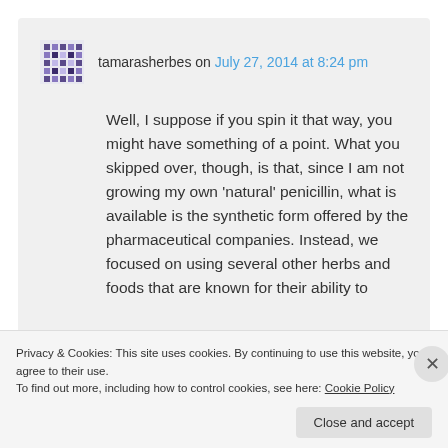tamarasherbes on July 27, 2014 at 8:24 pm
Well, I suppose if you spin it that way, you might have something of a point. What you skipped over, though, is that, since I am not growing my own 'natural' penicillin, what is available is the synthetic form offered by the pharmaceutical companies. Instead, we focused on using several other herbs and foods that are known for their ability to
Privacy & Cookies: This site uses cookies. By continuing to use this website, you agree to their use.
To find out more, including how to control cookies, see here: Cookie Policy
Close and accept